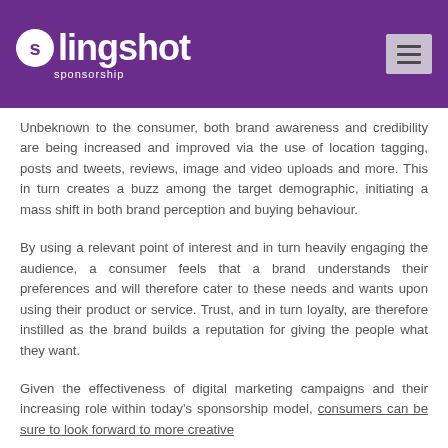slingshot sponsorship
Unbeknown to the consumer, both brand awareness and credibility are being increased and improved via the use of location tagging, posts and tweets, reviews, image and video uploads and more. This in turn creates a buzz among the target demographic, initiating a mass shift in both brand perception and buying behaviour.
By using a relevant point of interest and in turn heavily engaging the audience, a consumer feels that a brand understands their preferences and will therefore cater to these needs and wants upon using their product or service. Trust, and in turn loyalty, are therefore instilled as the brand builds a reputation for giving the people what they want.
Given the effectiveness of digital marketing campaigns and their increasing role within today's sponsorship model, consumers can be sure to look forward to more creative...